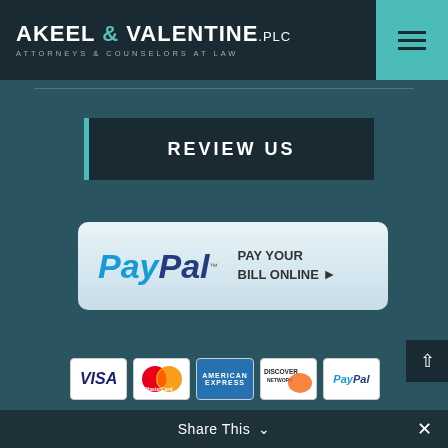[Figure (logo): Akeel & Valentine PLC - Attorneys & Counselors at Law logo with teal menu icon]
[Figure (other): Review Us button with teal left border on dark background]
[Figure (other): PayPal Pay Your Bill Online banner button]
[Figure (other): Payment method icons: Visa, MasterCard, American Express, Discover Network, PayPal]
Share This
✕